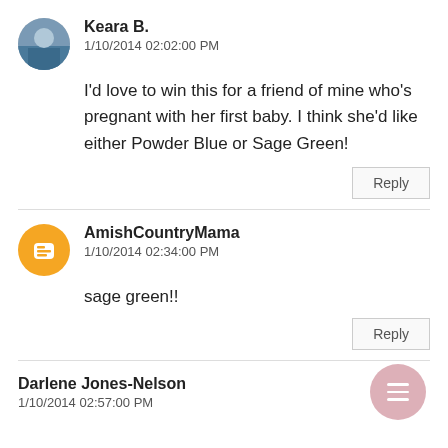Keara B.
1/10/2014 02:02:00 PM
I'd love to win this for a friend of mine who's pregnant with her first baby. I think she'd like either Powder Blue or Sage Green!
Reply
AmishCountryMama
1/10/2014 02:34:00 PM
sage green!!
Darlene Jones-Nelson
1/10/2014 02:57:00 PM